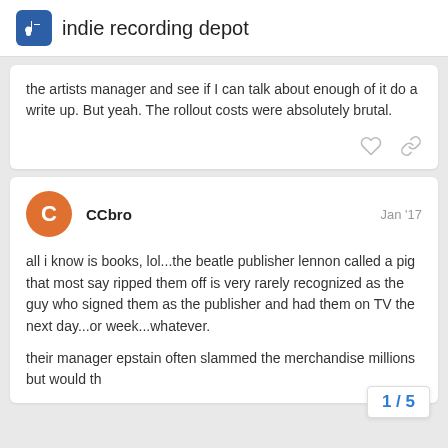indie recording depot
the artists manager and see if I can talk about enough of it do a write up. But yeah. The rollout costs were absolutely brutal.
CCbro  Jan '17
all i know is books, lol...the beatle publisher lennon called a pig that most say ripped them off is very rarely recognized as the guy who signed them as the publisher and had them on TV the next day...or week...whatever.

their manager epstain often slammed the merchandise millions but would th
1 / 5